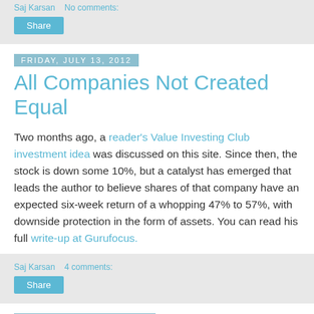Saj Karsan   No comments:
Share
Friday, July 13, 2012
All Companies Not Created Equal
Two months ago, a reader's Value Investing Club investment idea was discussed on this site. Since then, the stock is down some 10%, but a catalyst has emerged that leads the author to believe shares of that company have an expected six-week return of a whopping 47% to 57%, with downside protection in the form of assets. You can read his full write-up at Gurufocus.
Saj Karsan   4 comments:
Share
Thursday, July 12, 2012
Ryder All The Way Up!